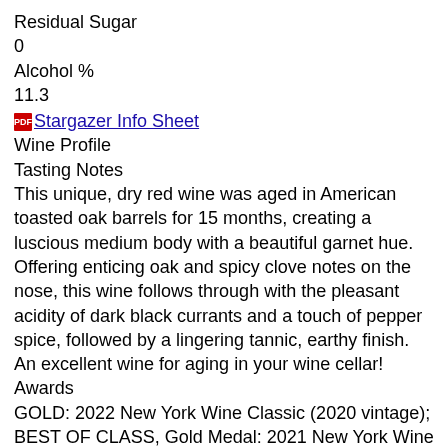Residual Sugar
0
Alcohol %
11.3
Stargazer Info Sheet
Wine Profile
Tasting Notes
This unique, dry red wine was aged in American toasted oak barrels for 15 months, creating a luscious medium body with a beautiful garnet hue. Offering enticing oak and spicy clove notes on the nose, this wine follows through with the pleasant acidity of dark black currants and a touch of pepper spice, followed by a lingering tannic, earthy finish. An excellent wine for aging in your wine cellar!
Awards
GOLD: 2022 New York Wine Classic (2020 vintage); BEST OF CLASS, Gold Medal: 2021 New York Wine Classic (2018 vintage); SILVER: 2021 Critics Challenge International Wine Competition (2018 vintage); BRONZE: 2020 Tasters Guild (2018 vintage)
Production Notes
Limited Production: Only 279 Cases
Winemaker Notes
Lemberger was an outlier on our crush pad for the 2018 harvest